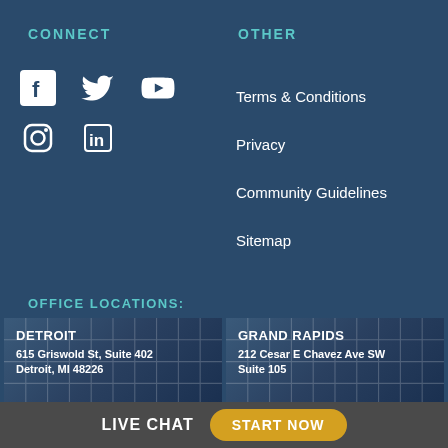CONNECT
OTHER
[Figure (illustration): Social media icons: Facebook, Twitter, YouTube, Instagram, LinkedIn in white on dark blue background]
Terms & Conditions
Privacy
Community Guidelines
Sitemap
OFFICE LOCATIONS:
DETROIT
615 Griswold St, Suite 402
Detroit, MI 48226
GRAND RAPIDS
212 Cesar E Chavez Ave SW
Suite 105
LIVE CHAT
START NOW